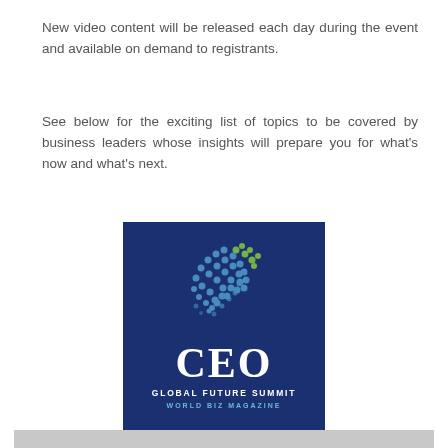New video content will be released each day during the event and available on demand to registrants.
See below for the exciting list of topics to be covered by business leaders whose insights will prepare you for what's now and what's next.
[Figure (logo): CEO Global Future Summit logo — dark blue square with a globe made of hexagonal dots in blue and green, large white 'CEO' text, 'GLOBAL FUTURE SUMMIT' in white bold caps, 'WORLD BIZ MAGAZINE' in teal caps below]